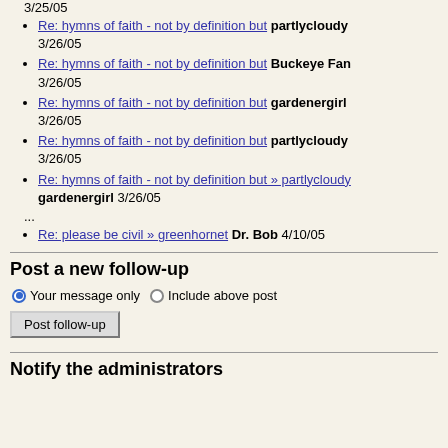3/25/05
Re: hymns of faith - not by definition but partlycloudy 3/26/05
Re: hymns of faith - not by definition but Buckeye Fan 3/26/05
Re: hymns of faith - not by definition but gardenergirl 3/26/05
Re: hymns of faith - not by definition but partlycloudy 3/26/05
Re: hymns of faith - not by definition but » partlycloudy gardenergirl 3/26/05
...
Re: please be civil » greenhornet Dr. Bob 4/10/05
Post a new follow-up
Your message only   Include above post
Post follow-up
Notify the administrators